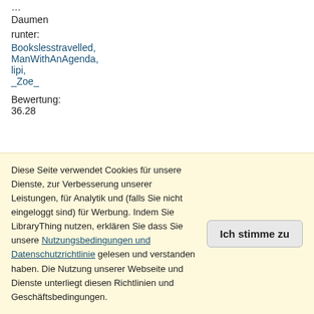...
Daumen
runter:
Bookslesstravelled,
ManWithAnAgenda,
lipi,
_Zoe_
Bewertung:
36.28
16
[Figure (photo): Book cover of Little Women]
Listen:
NareHon

mith
(1),
kara_shanny
Diese Seite verwendet Cookies für unsere Dienste, zur Verbesserung unserer Leistungen, für Analytik und (falls Sie nicht eingeloggt sind) für Werbung. Indem Sie LibraryThing nutzen, erklären Sie dass Sie unsere Nutzungsbedingungen und Datenschutzrichtlinie gelesen und verstanden haben. Die Nutzung unserer Webseite und Dienste unterliegt diesen Richtlinien und Geschäftsbedingungen.
Ich stimme zu